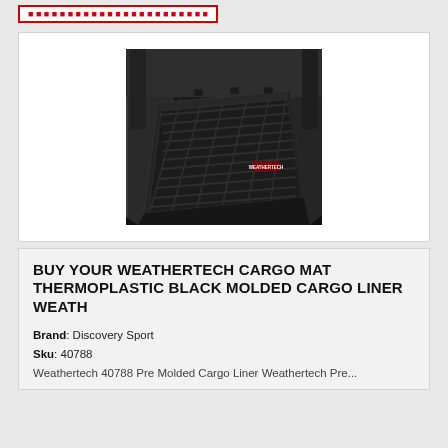[Figure (photo): Black WeatherTech cargo mat / thermoplastic molded cargo liner shown in the trunk/cargo area of an SUV, angled view from above showing textured ribbed surface and raised edges.]
BUY YOUR WEATHERTECH CARGO MAT THERMOPLASTIC BLACK MOLDED CARGO LINER WEATH
Brand: Discovery Sport
Sku: 40788
Weathertech 40788 Pre Molded Cargo Liner Weathertech Pre...